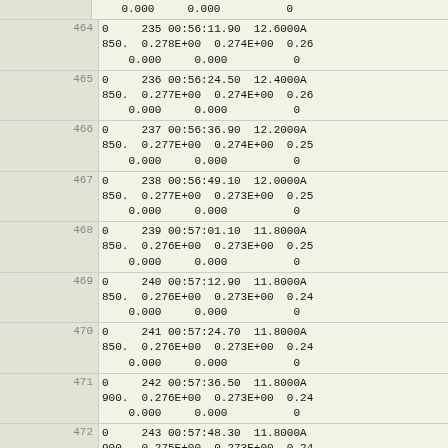| Row | Data |
| --- | --- |
|  |     0.000     0.000          0 |
| 464 | 0     235 00:56:11.90  12.6000A
850.  0.278E+00  0.274E+00  0.26
    0.000     0.000          0 |
| 465 | 0     236 00:56:24.50  12.4000A
850.  0.277E+00  0.274E+00  0.26
    0.000     0.000          0 |
| 466 | 0     237 00:56:36.90  12.2000A
850.  0.277E+00  0.274E+00  0.25
    0.000     0.000          0 |
| 467 | 0     238 00:56:49.10  12.0000A
850.  0.277E+00  0.273E+00  0.25
    0.000     0.000          0 |
| 468 | 0     239 00:57:01.10  11.8000A
850.  0.276E+00  0.273E+00  0.25
    0.000     0.000          0 |
| 469 | 0     240 00:57:12.90  11.8000A
850.  0.276E+00  0.273E+00  0.24
    0.000     0.000          0 |
| 470 | 0     241 00:57:24.70  11.8000A
850.  0.276E+00  0.273E+00  0.24
    0.000     0.000          0 |
| 471 | 0     242 00:57:36.50  11.8000A
900.  0.276E+00  0.273E+00  0.24
    0.000     0.000          0 |
| 472 | 0     243 00:57:48.30  11.8000A
900.  0.275E+00  0.273E+00  0.24
    0.000     0.000          0 |
| 473 | 0     244 00:58:00.10  11.7000A
950.  0.275E+00  0.272E+00  0.24
    0.000     0.000          0 |
| 474 | 0     245 00:58:11.80  11.7000A
900.  0.275E+00  0.273E+00  0.24
    0.000     0.000          0 |
| 475 | 0     246 00:58:23.50  11.7000A
900.  0.275E+00  0.272E+00  0.24 |